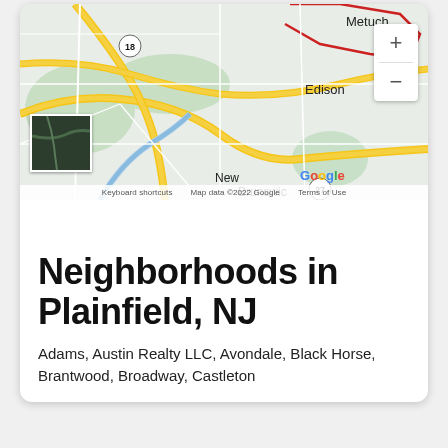[Figure (map): Google Map showing Edison, New Brunswick, Metuchen area of New Jersey with roads, highways (routes 18, 27, 28), and colored overlays. Controls include zoom in/out buttons and a satellite minimap thumbnail.]
Keyboard shortcuts   Map data ©2022 Google   Terms of Use
Neighborhoods in Plainfield, NJ
Adams, Austin Realty LLC, Avondale, Black Horse, Brantwood, Broadway, Castleton